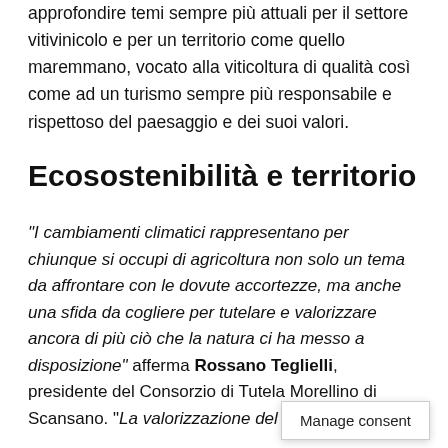approfondire temi sempre più attuali per il settore vitivinicolo e per un territorio come quello maremmano, vocato alla viticoltura di qualità così come ad un turismo sempre più responsabile e rispettoso del paesaggio e dei suoi valori.
Ecosostenibilità e territorio
"I cambiamenti climatici rappresentano per chiunque si occupi di agricoltura non solo un tema da affrontare con le dovute accortezze, ma anche una sfida da cogliere per tutelare e valorizzare ancora di più ciò che la natura ci ha messo a disposizione" afferma Rossano Teglielli, presidente del Consorzio di Tutela Morellino di Scansano. "La valorizzazione del territorio